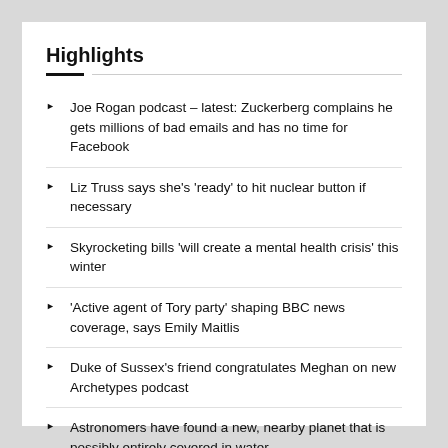Highlights
Joe Rogan podcast – latest: Zuckerberg complains he gets millions of bad emails and has no time for Facebook
Liz Truss says she's 'ready' to hit nuclear button if necessary
Skyrocketing bills 'will create a mental health crisis' this winter
'Active agent of Tory party' shaping BBC news coverage, says Emily Maitlis
Duke of Sussex's friend congratulates Meghan on new Archetypes podcast
Astronomers have found a new, nearby planet that is possibly entirely covered in water.